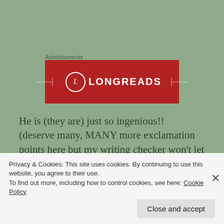Advertisements
[Figure (logo): Longreads advertisement banner — red background with white circle containing letter L and text LONGREADS in white capitals]
He is (they are) just so ingenious!!  (deserve many, MANY more exclamation points here but my writing checker won't let me do it – boo hoo!)  Take a good look at this pic.  Not the raised beds, not the walk ways but the top and the slanted boards.  They placed wire
Privacy & Cookies: This site uses cookies. By continuing to use this website, you agree to their use.
To find out more, including how to control cookies, see here: Cookie Policy
Close and accept